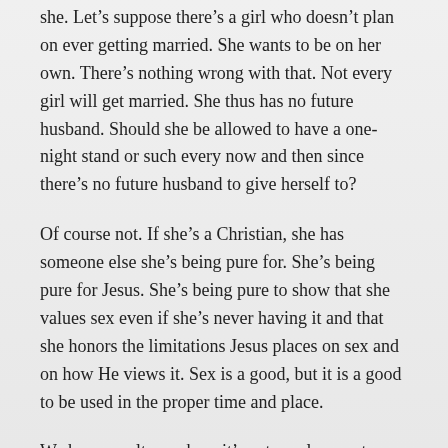she. Let's suppose there's a girl who doesn't plan on ever getting married. She wants to be on her own. There's nothing wrong with that. Not every girl will get married. She thus has no future husband. Should she be allowed to have a one-night stand or such every now and then since there's no future husband to give herself to?
Of course not. If she's a Christian, she has someone else she's being pure for. She's being pure for Jesus. She's being pure to show that she values sex even if she's never having it and that she honors the limitations Jesus places on sex and on how He views it. Sex is a good, but it is a good to be used in the proper time and place.
We have a culture where it's extremely easy to view women as sexual objects. No doubt, the reason for this is that by and far, the women are far more appealing to the eyes than we men are, and that includes I'd say to the women themselves who are quick to notice the beauty of one another and compete with